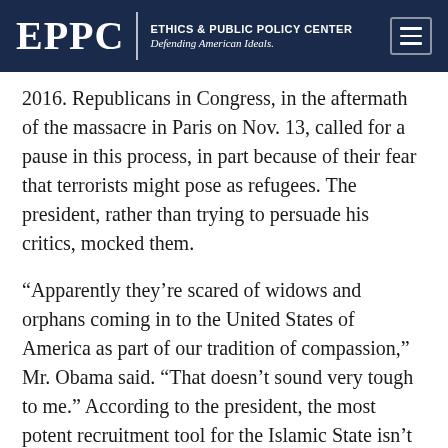EPPC | ETHICS & PUBLIC POLICY CENTER Defending American Ideals.
2016. Republicans in Congress, in the aftermath of the massacre in Paris on Nov. 13, called for a pause in this process, in part because of their fear that terrorists might pose as refugees. The president, rather than trying to persuade his critics, mocked them.
“Apparently they’re scared of widows and orphans coming in to the United States of America as part of our tradition of compassion,” Mr. Obama said. “That doesn’t sound very tough to me.” According to the president, the most potent recruitment tool for the Islamic State isn’t jihadist social media or battlefield victories